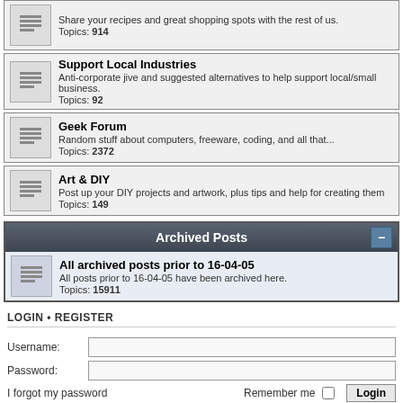Share your recipes and great shopping spots with the rest of us. Topics: 914
Support Local Industries - Anti-corporate jive and suggested alternatives to help support local/small business. Topics: 92
Geek Forum - Random stuff about computers, freeware, coding, and all that... Topics: 2372
Art & DIY - Post up your DIY projects and artwork, plus tips and help for creating them. Topics: 149
Archived Posts
All archived posts prior to 16-04-05 - All posts prior to 16-04-05 have been archived here. Topics: 15911
LOGIN • REGISTER
Username:
Password:
I forgot my password
Remember me
WHO IS ONLINE
In total there are 72 users online :: 0 registered, 0 hidden and 72 guests (based on users active over the past 5 minutes)
Most users ever online was 725 on Mon May 11, 2020 4:58 am